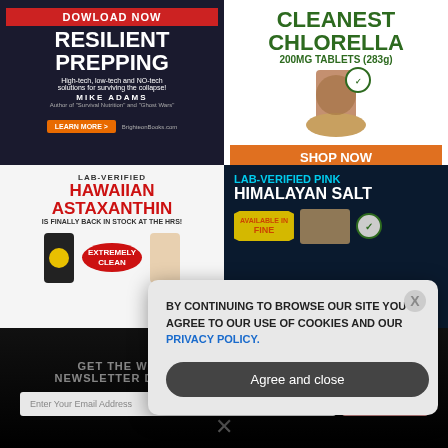[Figure (illustration): Ad for Resilient Prepping book download by Mike Adams, dark blue background with bold white text, orange Learn More button, BrighteonBooks.com]
[Figure (illustration): Ad for Cleanest Chlorella 200mg tablets 283g, green text on white, product image with green tablets and bowl, orange Shop Now button]
[Figure (illustration): Ad for Lab-Verified Hawaiian Astaxanthin back in stock at the HRS, white background, red bold text, person holding bottle with yellow lid]
[Figure (illustration): Ad for Lab-Verified Pink Himalayan Salt, dark navy background, cyan and white bold text, salt block product image, Available in Fine starburst badge]
GET THE WORLD'S BEST INDEPENDENT MEDIA NEWSLETTER DELIVERED STRAIGHT TO YOUR INBOX.
Enter Your Email Address
SUBSCRIBE
BY CONTINUING TO BROWSE OUR SITE YOU AGREE TO OUR USE OF COOKIES AND OUR PRIVACY POLICY.
Agree and close